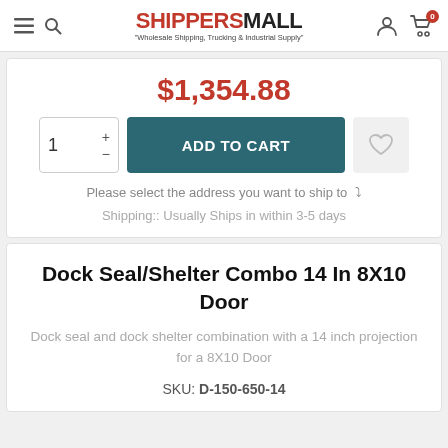SHIPPERS MALL "Wholesale Shipping, Trucking & Industrial Supply"
$1,354.88
ADD TO CART
Please select the address you want to ship to
Shipping:: Usually Ships in within 3-5 days
Dock Seal/Shelter Combo 14 In 8X10 Door
Dock seal and dock shelter combination with a 14 inch projection for a 8X10 Door
SKU: D-150-650-14